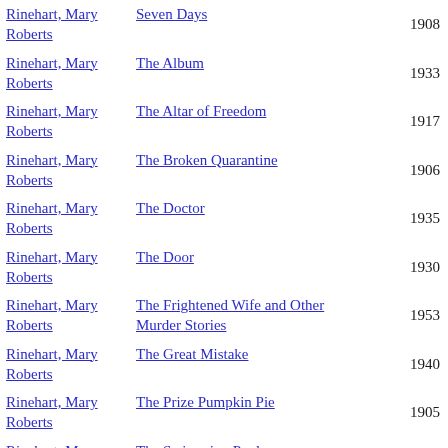| Author | Title | Year |
| --- | --- | --- |
| Rinehart, Mary Roberts | Seven Days | 1908 |
| Rinehart, Mary Roberts | The Album | 1933 |
| Rinehart, Mary Roberts | The Altar of Freedom | 1917 |
| Rinehart, Mary Roberts | The Broken Quarantine | 1906 |
| Rinehart, Mary Roberts | The Doctor | 1935 |
| Rinehart, Mary Roberts | The Door | 1930 |
| Rinehart, Mary Roberts | The Frightened Wife and Other Murder Stories | 1953 |
| Rinehart, Mary Roberts | The Great Mistake | 1940 |
| Rinehart, Mary Roberts | The Prize Pumpkin Pie | 1905 |
| Rinehart, Mary Roberts | The Swimming Pool | 1952 |
| Rinehart, Mary Roberts | The Wall | 1938 |